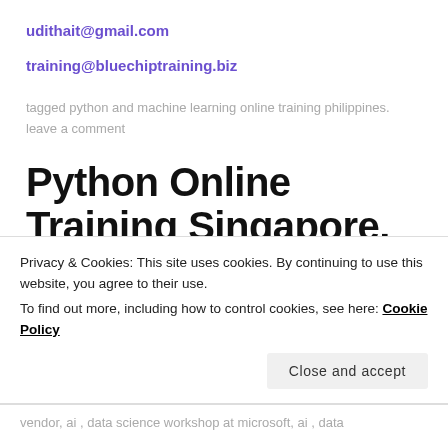udithait@gmail.com
training@bluechiptraining.biz
tagged python and machine learning online training philippines.      leave a comment
Python Online Training Singapore.
july 31, 2021, posted in 2021, ai , data science and machine
Privacy & Cookies: This site uses cookies. By continuing to use this website, you agree to their use.
To find out more, including how to control cookies, see here: Cookie Policy
vendor, ai , data science workshop at microsoft, ai , data